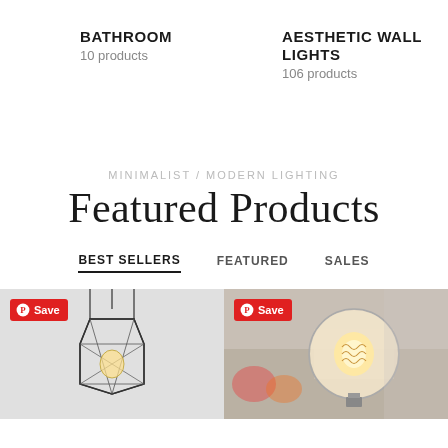BATHROOM
10 products
AESTHETIC WALL LIGHTS
106 products
MINIMALIST / MODERN LIGHTING
Featured Products
BEST SELLERS
FEATURED
SALES
[Figure (photo): Pendant light fixture with geometric wire cage housing a filament bulb, shown against a grey background. Pinterest Save badge in top left.]
[Figure (photo): Close-up of a large round filament bulb lit warmly, with blurred background showing colorful items. Pinterest Save badge in top left.]